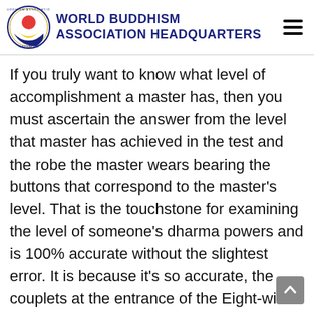WORLD BUDDHISM ASSOCIATION HEADQUARTERS
If you truly want to know what level of accomplishment a master has, then you must ascertain the answer from the level that master has achieved in the test and the robe the master wears bearing the buttons that correspond to the master's level. That is the touchstone for examining the level of someone's dharma powers and is 100% accurate without the slightest error. It is because it's so accurate, the couplets at the entrance of the Eight-wind Array could say: “Your level revealed is exactly what your level is, so do not think your level would be any higher;” and “Your weight shown will be ...